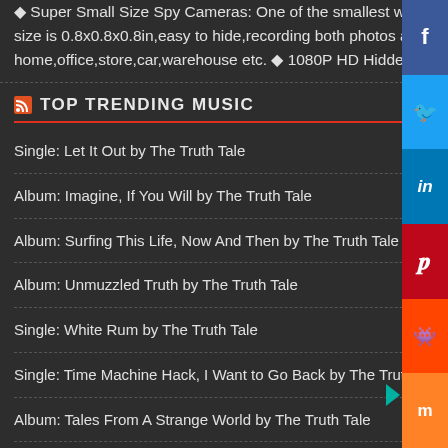◆ Super Small Size Spy Cameras: One of the smallest wireless spy camera in the world. AOBO mini spy cam as a hidden body camera.the size is 0.8x0.8x0.8in,easy to hide,recording both photos and videos without any attentions.It's the best nanny cam used for home,office,store,car,warehouse etc. ◆ 1080P HD Hidden Camera: This AOBO wireless hidden cameras [...]
TOP TRENDING MUSIC
Single: Let It Out by The Truth Tale
Album: Imagine, If You Will by The Truth Tale
Album: Surfing This Life, Now And Then by The Truth Tale
Album: Unmuzzled Truth by The Truth Tale
Single: White Rum by The Truth Tale
Single: Time Machine Hack, I Want to Go Back by The Truth Tale
Album: Tales From A Strange World by The Truth Tale
New Album Release: Quest Of Truth by The Truth Tale